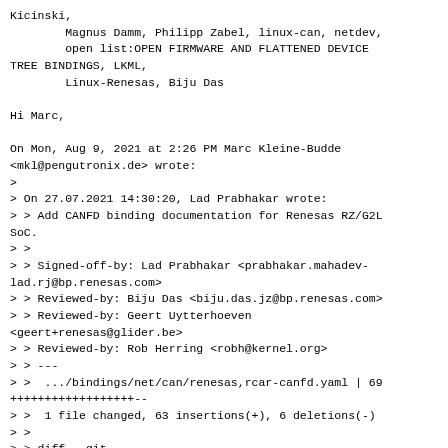Kicinski,
        Magnus Damm, Philipp Zabel, linux-can, netdev,
        open list:OPEN FIRMWARE AND FLATTENED DEVICE
TREE BINDINGS, LKML,
        Linux-Renesas, Biju Das

Hi Marc,

On Mon, Aug 9, 2021 at 2:26 PM Marc Kleine-Budde
<mkl@pengutronix.de> wrote:
>
> On 27.07.2021 14:30:20, Lad Prabhakar wrote:
> > Add CANFD binding documentation for Renesas RZ/G2L
SoC.
> >
> > Signed-off-by: Lad Prabhakar <prabhakar.mahadev-
lad.rj@bp.renesas.com>
> > Reviewed-by: Biju Das <biju.das.jz@bp.renesas.com>
> > Reviewed-by: Geert Uytterhoeven
<geert+renesas@glider.be>
> > Reviewed-by: Rob Herring <robh@kernel.org>
> > ---
> >  .../bindings/net/can/renesas,rcar-canfd.yaml | 69
++++++++++++++++++--
> >  1 file changed, 63 insertions(+), 6 deletions(-)
> >
> > diff --git
a/Documentation/devicetree/bindings/net/can/renesas,rcar-
canfd.yaml
b/Documentation/devicetree/bindings/net/can/renesas,rcar-